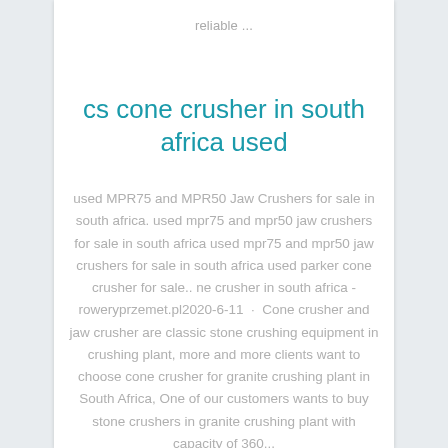reliable ...
cs cone crusher in south africa used
used MPR75 and MPR50 Jaw Crushers for sale in south africa. used mpr75 and mpr50 jaw crushers for sale in south africa used mpr75 and mpr50 jaw crushers for sale in south africa used parker cone crusher for sale.. ne crusher in south africa - roweryprzemet.pl2020-6-11 · Cone crusher and jaw crusher are classic stone crushing equipment in crushing plant, more and more clients want to choose cone crusher for granite crushing plant in South Africa, One of our customers wants to buy stone crushers in granite crushing plant with capacity of 360...